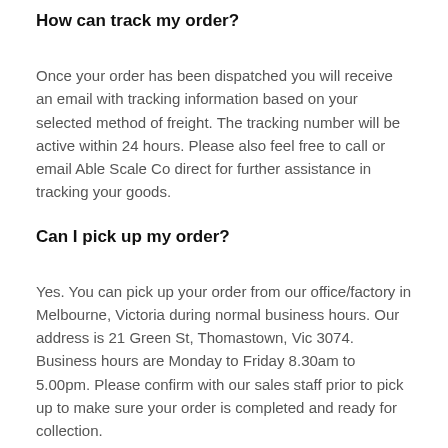How can track my order?
Once your order has been dispatched you will receive an email with tracking information based on your selected method of freight. The tracking number will be active within 24 hours. Please also feel free to call or email Able Scale Co direct for further assistance in tracking your goods.
Can I pick up my order?
Yes. You can pick up your order from our office/factory in Melbourne, Victoria during normal business hours. Our address is 21 Green St, Thomastown, Vic 3074. Business hours are Monday to Friday 8.30am to 5.00pm. Please confirm with our sales staff prior to pick up to make sure your order is completed and ready for collection.